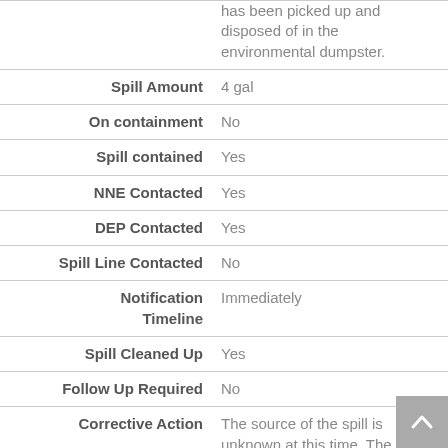| Field | Value |
| --- | --- |
|  | has been picked up and disposed of in the environmental dumpster. |
| Spill Amount | 4 gal |
| On containment | No |
| Spill contained | Yes |
| NNE Contacted | Yes |
| DEP Contacted | Yes |
| Spill Line Contacted | No |
| Notification Timeline | Immediately |
| Spill Cleaned Up | Yes |
| Follow Up Required | No |
| Corrective Action | The source of the spill is unknown at this time. The spill was cleaned up and |